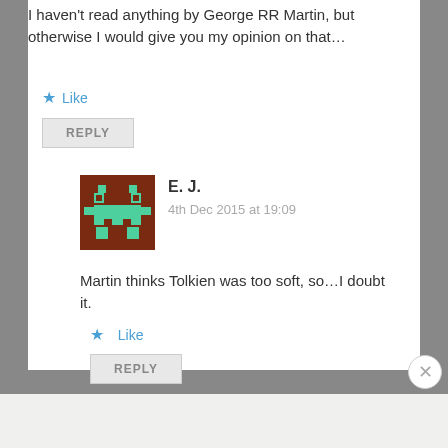I haven't read anything by George RR Martin, but otherwise I would give you my opinion on that…
Like
REPLY
E. J.
4th Dec 2015 at 19:09
Martin thinks Tolkien was too soft, so…I doubt it.
Like
REPLY
Advertisements
fall in love with south wonders of the southern hemisphere.Get inspired and fly